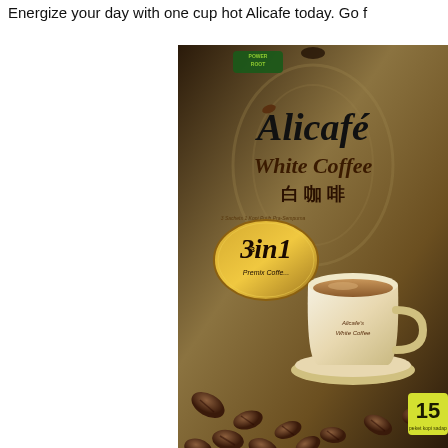Energize your day with one cup hot Alicafe today. Go f
[Figure (photo): Product photo of Alicafe White Coffee 3-in-1 Premix Coffee bag (15 sachets), showing the brown packaging with a cup of white coffee and coffee beans, with Chinese text 白咖啡]